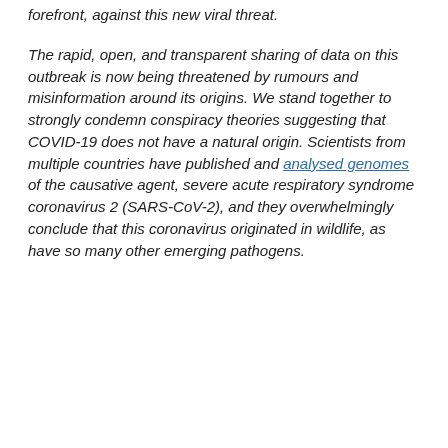forefront, against this new viral threat.
The rapid, open, and transparent sharing of data on this outbreak is now being threatened by rumours and misinformation around its origins. We stand together to strongly condemn conspiracy theories suggesting that COVID-19 does not have a natural origin. Scientists from multiple countries have published and analysed genomes of the causative agent, severe acute respiratory syndrome coronavirus 2 (SARS-CoV-2), and they overwhelmingly conclude that this coronavirus originated in wildlife, as have so many other emerging pathogens.